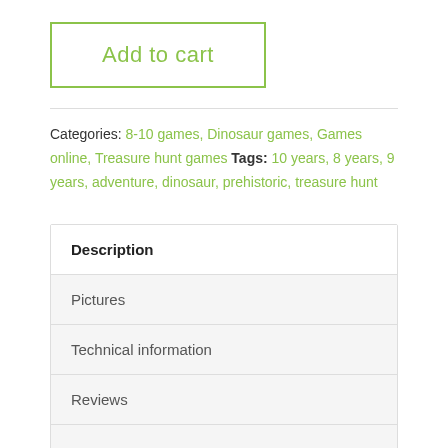Add to cart
Categories: 8-10 games, Dinosaur games, Games online, Treasure hunt games Tags: 10 years, 8 years, 9 years, adventure, dinosaur, prehistoric, treasure hunt
| Description |
| Pictures |
| Technical information |
| Reviews |
|  |